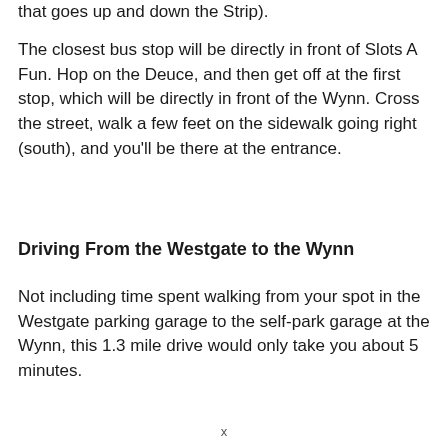that goes up and down the Strip).
The closest bus stop will be directly in front of Slots A Fun. Hop on the Deuce, and then get off at the first stop, which will be directly in front of the Wynn. Cross the street, walk a few feet on the sidewalk going right (south), and you’ll be there at the entrance.
Driving From the Westgate to the Wynn
Not including time spent walking from your spot in the Westgate parking garage to the self-park garage at the Wynn, this 1.3 mile drive would only take you about 5 minutes.
x